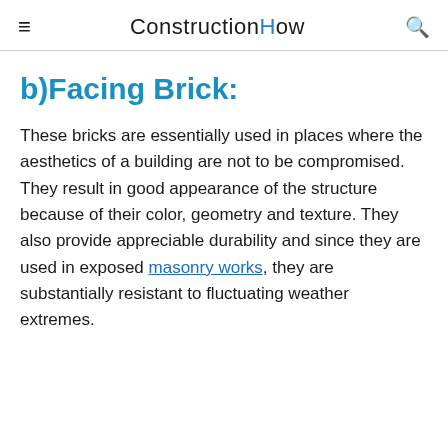ConstructionHow
b)Facing Brick:
These bricks are essentially used in places where the aesthetics of a building are not to be compromised. They result in good appearance of the structure because of their color, geometry and texture. They also provide appreciable durability and since they are used in exposed masonry works, they are substantially resistant to fluctuating weather extremes.